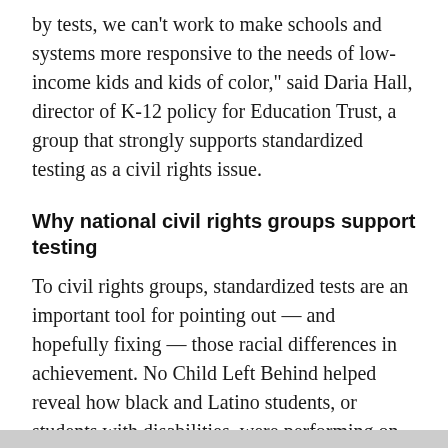by tests, we can't work to make schools and systems more responsive to the needs of low-income kids and kids of color," said Daria Hall, director of K-12 policy for Education Trust, a group that strongly supports standardized testing as a civil rights issue.
Why national civil rights groups support testing
To civil rights groups, standardized tests are an important tool for pointing out — and hopefully fixing — those racial differences in achievement. No Child Left Behind helped reveal how black and Latino students, or students with disabilities, were performing on average, relative to the average performance of white students — and, perhaps more importantly, tried to require states to fix it.